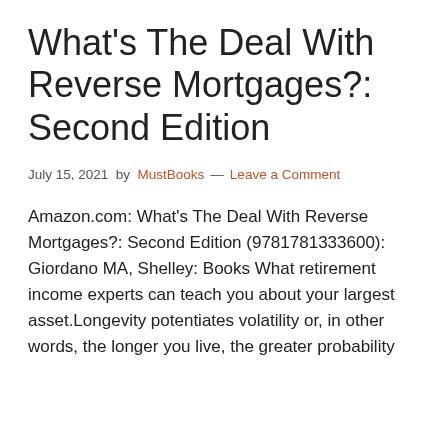What's The Deal With Reverse Mortgages?: Second Edition
July 15, 2021 by MustBooks — Leave a Comment
Amazon.com: What's The Deal With Reverse Mortgages?: Second Edition (9781781333600): Giordano MA, Shelley: Books What retirement income experts can teach you about your largest asset.Longevity potentiates volatility or, in other words, the longer you live, the greater probability